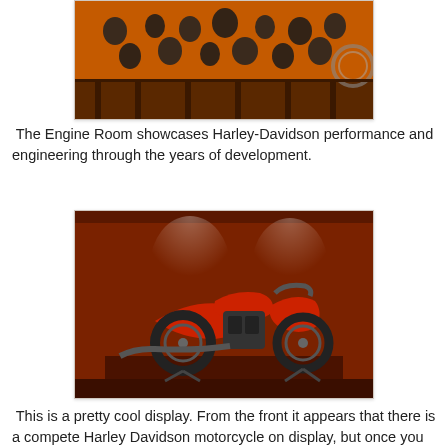[Figure (photo): Interior of the Harley-Davidson Museum Engine Room with motorcycle engines displayed on an orange-lit wall]
The Engine Room showcases Harley-Davidson performance and engineering through the years of development.
[Figure (photo): A red classic Harley Davidson motorcycle exploded/disassembled display on a platform in a dark red museum room with spotlight lighting]
This is a pretty cool display. From the front it appears that there is a compete Harley Davidson motorcycle on display, but once you walk around the exhibit you see that it is just a well-placed exploded view of a motorcycle.